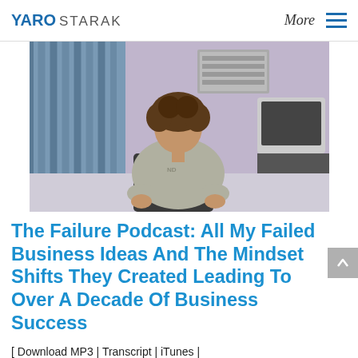YARO STARAK   More ☰
[Figure (photo): A young man with curly hair sitting in an office chair wearing a grey sweatshirt, with a computer monitor and office environment in the background.]
The Failure Podcast: All My Failed Business Ideas And The Mindset Shifts They Created Leading To Over A Decade Of Business Success
[ Download MP3 | Transcript | iTunes |